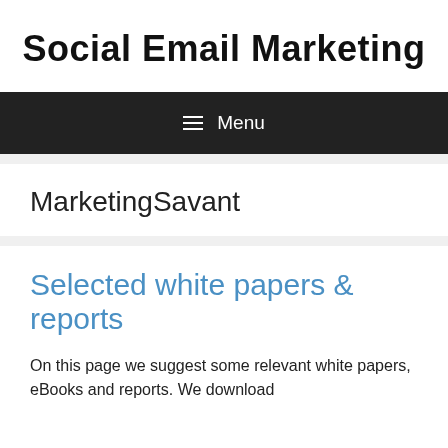Social Email Marketing
≡ Menu
MarketingSavant
Selected white papers & reports
On this page we suggest some relevant white papers, eBooks and reports. We download